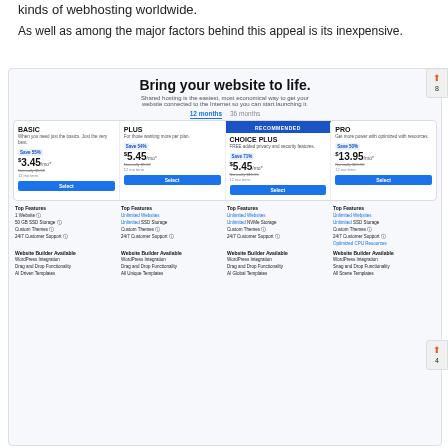kinds of webhosting worldwide.
As well as among the major factors behind this appeal is its inexpensive.
[Figure (screenshot): Screenshot of a web hosting pricing page titled 'Bring your website to life.' showing four plans: BASIC ($3.45/mo), PLUS ($5.45/mo), CHOICE PLUS ($5.45/mo, recommended), and PRO ($13.95/mo), each with Save percentages, Select buttons, and lists of Top Features including Unlimited Websites, SSD Storage, Custom Themes, 24/7 Customer Support, Website Builder Available, WordPress Integration, Drag and Drop Functionality, and template options.]